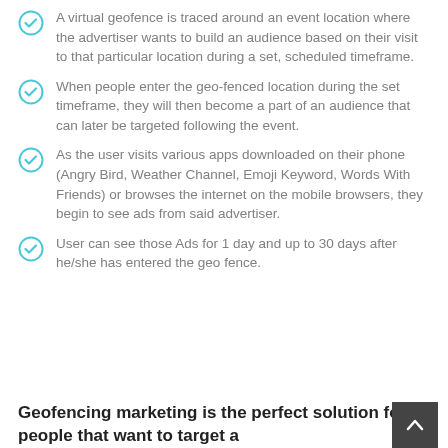A virtual geofence is traced around an event location where the advertiser wants to build an audience based on their visit to that particular location during a set, scheduled timeframe.
When people enter the geo-fenced location during the set timeframe, they will then become a part of an audience that can later be targeted following the event.
As the user visits various apps downloaded on their phone (Angry Bird, Weather Channel, Emoji Keyword, Words With Friends) or browses the internet on the mobile browsers, they begin to see ads from said advertiser.
User can see those Ads for 1 day and up to 30 days after he/she has entered the geo fence.
Geofencing marketing is the perfect solution for people that want to target a